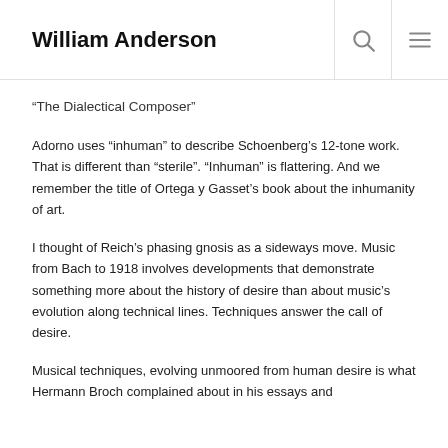William Anderson
“The Dialectical Composer”
Adorno uses “inhuman” to describe Schoenberg’s 12-tone work. That is different than “sterile”. “Inhuman” is flattering. And we remember the title of Ortega y Gasset’s book about the inhumanity of art.
I thought of Reich’s phasing gnosis as a sideways move. Music from Bach to 1918 involves developments that demonstrate something more about the history of desire than about music’s evolution along technical lines. Techniques answer the call of desire.
Musical techniques, evolving unmoored from human desire is what Hermann Broch complained about in his essays and